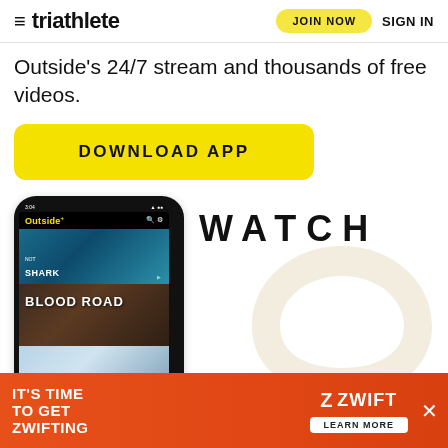triathlete | JOIN NOW | SIGN IN
Outside's 24/7 stream and thousands of free videos.
DOWNLOAD APP
[Figure (screenshot): Phone mockup showing Outside+ app with shark documentary, Blood Road, and ski content panels. Next to it WATCH text and large Outside O logo watermark.]
[Figure (other): Zwift advertisement banner: IT'S TIME TO GET ZWIFTING on orange background with Zwift logo and LEARN MORE button.]